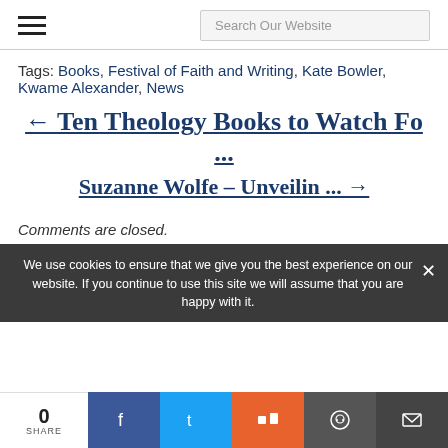Search Our Website
Tags: Books, Festival of Faith and Writing, Kate Bowler, Kwame Alexander, News
← Ten Theology Books to Watch Fo ...
Suzanne Wolfe – Unveilin ... →
Comments are closed.
We use cookies to ensure that we give you the best experience on our website. If you continue to use this site we will assume that you are happy with it.
0 SHARE